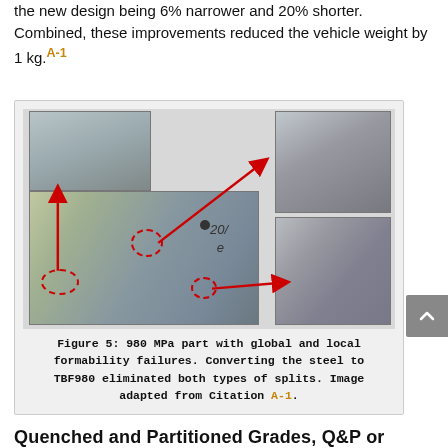the new design being 6% narrower and 20% shorter. Combined, these improvements reduced the vehicle weight by 1 kg. [A-1]
[Figure (photo): Composite image showing a 980 MPa metal part with annotated global and local formability failures (dashed red circles marking split locations) with red arrows pointing to close-up inset photos of the failure areas on the right side.]
Figure 5: 980 MPa part with global and local formability failures. Converting the steel to TBF980 eliminated both types of splits. Image adapted from Citation A-1.
Quenched and Partitioned Grades, Q&P or...